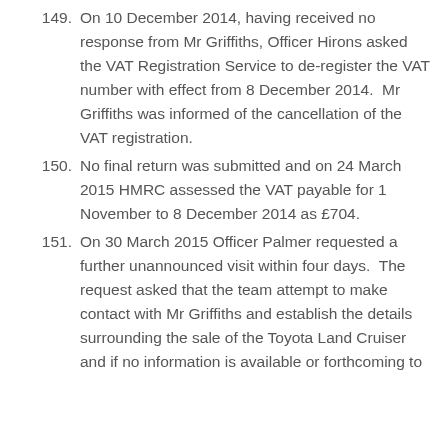149. On 10 December 2014, having received no response from Mr Griffiths, Officer Hirons asked the VAT Registration Service to de-register the VAT number with effect from 8 December 2014.  Mr Griffiths was informed of the cancellation of the VAT registration.
150. No final return was submitted and on 24 March 2015 HMRC assessed the VAT payable for 1 November to 8 December 2014 as £704.
151. On 30 March 2015 Officer Palmer requested a further unannounced visit within four days.  The request asked that the team attempt to make contact with Mr Griffiths and establish the details surrounding the sale of the Toyota Land Cruiser and if no information is available or forthcoming to